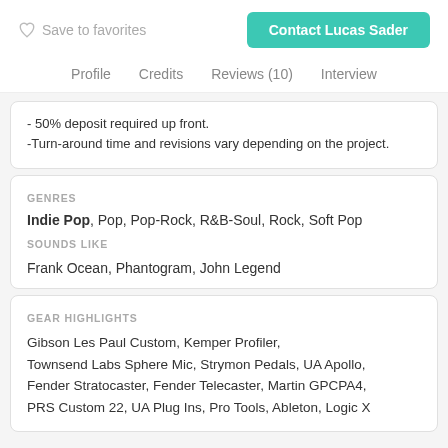Save to favorites   Contact Lucas Sader
Profile   Credits   Reviews (10)   Interview
- 50% deposit required up front.
-Turn-around time and revisions vary depending on the project.
GENRES
Indie Pop, Pop, Pop-Rock, R&B-Soul, Rock, Soft Pop
SOUNDS LIKE
Frank Ocean, Phantogram, John Legend
GEAR HIGHLIGHTS
Gibson Les Paul Custom, Kemper Profiler, Townsend Labs Sphere Mic, Strymon Pedals, UA Apollo, Fender Stratocaster, Fender Telecaster, Martin GPCPA4, PRS Custom 22, UA Plug Ins, Pro Tools, Ableton, Logic X